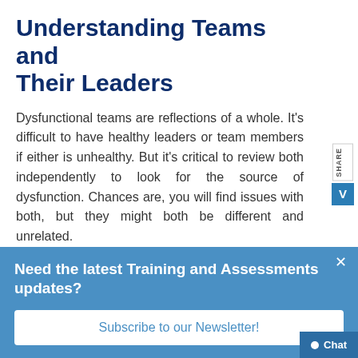Understanding Teams and Their Leaders
Dysfunctional teams are reflections of a whole. It’s difficult to have healthy leaders or team members if either is unhealthy. But it’s critical to review both independently to look for the source of dysfunction. Chances are, you will find issues with both, but they might both be different and unrelated.
Personality Mapping
Need the latest Training and Assessments updates?
Subscribe to our Newsletter!